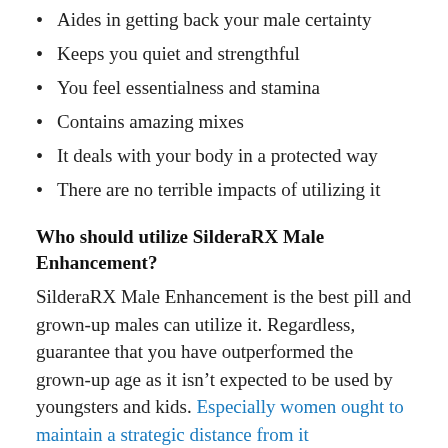Aides in getting back your male certainty
Keeps you quiet and strengthful
You feel essentialness and stamina
Contains amazing mixes
It deals with your body in a protected way
There are no terrible impacts of utilizing it
Who should utilize SilderaRX Male Enhancement?
SilderaRX Male Enhancement is the best pill and grown-up males can utilize it. Regardless, guarantee that you have outperformed the grown-up age as it isn't expected to be used by youngsters and kids. Especially women ought to maintain a strategic distance from it